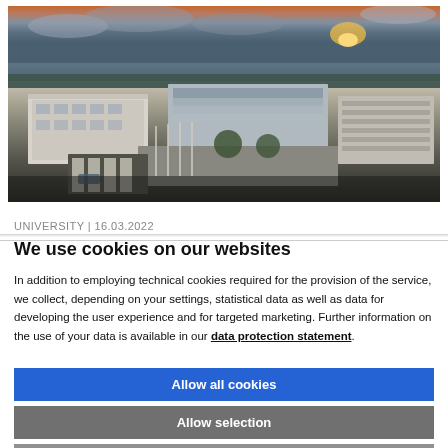[Figure (photo): Aerial/drone photograph of a university campus showing modern buildings, a courtyard with flagpoles, trees, and a body of water in the background with a sunset sky.]
UNIVERSITY | 16.03.2022
We use cookies on our websites
In addition to employing technical cookies required for the provision of the service, we collect, depending on your settings, statistical data as well as data for developing the user experience and for targeted marketing. Further information on the use of your data is available in our data protection statement.
Allow all cookies
Allow selection
Use necessary cookies only